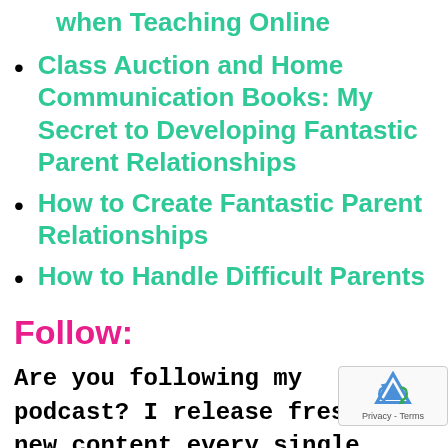when Teaching Online
Class Auction and Home Communication Books: My Secret to Developing Fantastic Parent Relationships
How to Create Fantastic Parent Relationships
How to Handle Difficult Parents
Follow:
Are you following my podcast? I release fresh, new content every single week and I don't want you to miss out! 🎙  Click here to follow on Apple Podcasts